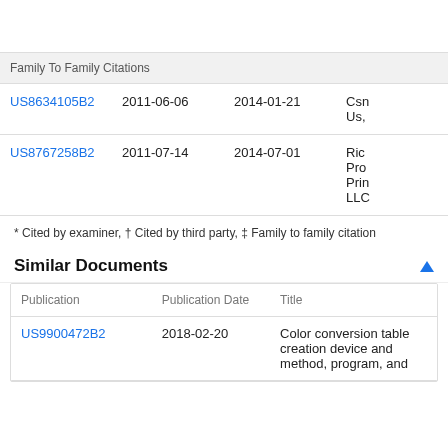| Family To Family Citations |  |  |  |
| --- | --- | --- | --- |
| US8634105B2 | 2011-06-06 | 2014-01-21 | Csn Us, |
| US8767258B2 | 2011-07-14 | 2014-07-01 | Ric Pro Prin LLC |
* Cited by examiner, † Cited by third party, ‡ Family to family citation
Similar Documents
| Publication | Publication Date | Title |
| --- | --- | --- |
| US9900472B2 | 2018-02-20 | Color conversion table creation device and method, program, and |